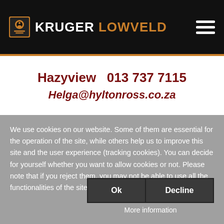KRUGER LOWVELD
Hazyview  013 737 7115
Helga@hyltonross.co.za
We use cookies on our website. Some of them are essential for the operation of the site, while others help us to improve this site and the user experience (tracking cookies). You can decide for yourself whether you want to allow cookies or not. Please note that if you reject them, you may not be able to use all the functionalities of the site.
Ok
Decline
More information